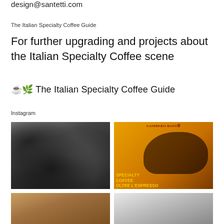design@santetti.com
The Italian Specialty Coffee Guide
For further upgrading and projects about the Italian Specialty Coffee scene
☕🌿 The Italian Specialty Coffee Guide
Instagram
[Figure (photo): Black and white photograph of a person sitting in a room with a bookshelf and a framed print on the wall]
[Figure (photo): Yellow-orange Gambero Rosso magazine cover for Specialty Coffee Oltre l'Espresso]
[Figure (photo): Partial Instagram photo, bottom left, brownish food or coffee related image]
[Figure (photo): Partial Instagram photo, bottom right, light toned image]